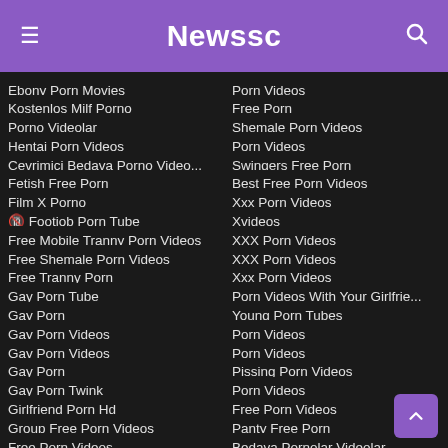Newssc
Ebony Porn Movies
Kostenlos Milf Porno
Porno Videolar
Hentai Porn Videos
Çevrimiçi Bedava Porno Video...
Fetish Free Porn
Film X Porno
🔞 Footjob Porn Tube
Free Mobile Tranny Porn Videos
Free Shemale Porn Videos
Free Tranny Porn
Gay Porn Tube
Gay Porn
Gay Porn Videos
Gay Porn Videos
Gay Porn
Gay Porn Twink
Girlfriend Porn Hd
Group Free Porn Videos
Free Porn Videos
Porn Videos
Free Porn
Shemale Porn Videos
Porn Videos
Swingers Free Porn
Best Free Porn Videos
Xxx Porn Videos
Xvideos
XXX Porn Videos
XXX Porn Videos
Xxx Porn Videos
Porn Videos With Your Girlfrie...
Young Porn Tubes
Porn Videos
Porn Videos
Pissing Porn Videos
Porn Videos
Free Porn Videos
Panty Free Porn
Bedava Pornolar Videolar